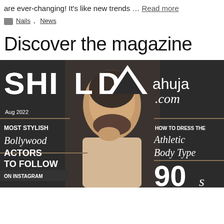are ever-changing! It's like new trends … Read more
Nails, News
Discover the magazine
[Figure (photo): Magazine cover of Shilpa Ahuja .com August 2022 issue featuring a stylish man with beard. Left column shows 'MOST STYLISH Bollywood ACTORS TO FOLLOW ON INSTAGRAM'. Right column shows 'HOW TO DRESS THE Athletic Body Type 90s'.]